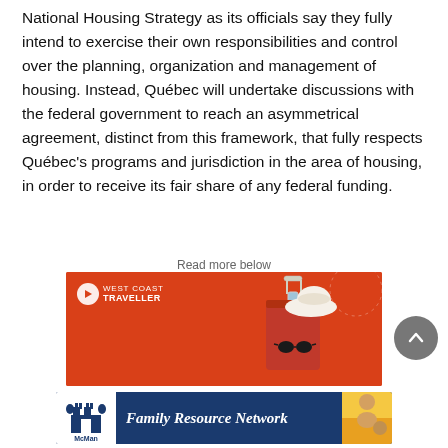National Housing Strategy as its officials say they fully intend to exercise their own responsibilities and control over the planning, organization and management of housing. Instead, Québec will undertake discussions with the federal government to reach an asymmetrical agreement, distinct from this framework, that fully respects Québec's programs and jurisdiction in the area of housing, in order to receive its fair share of any federal funding.
Read more below
[Figure (photo): Advertisement for West Coast Traveller showing orange background with luggage and hat graphic and West Coast Traveller logo in white]
[Figure (photo): Advertisement for McMan Family Resource Network showing blue banner with italic white text and McMan logo on white background on left, family photos on right]